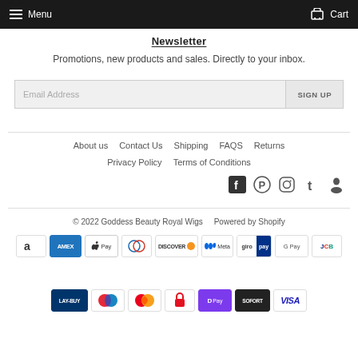Menu | Cart
Newsletter
Promotions, new products and sales. Directly to your inbox.
Email Address  SIGN UP
About us
Contact Us
Shipping
FAQS
Returns
Privacy Policy
Terms of Conditions
[Figure (infographic): Social media icons: Facebook, Pinterest, Instagram, Tumblr, and another icon]
© 2022 Goddess Beauty Royal Wigs   Powered by Shopify
[Figure (infographic): Payment method icons row 1: Amazon, Amex, Apple Pay, Diners, Discover, Meta, Giropay, Google Pay, JCB]
[Figure (infographic): Payment method icons row 2: Laybuy, Mastercard (two icons), Google Pay red, DPay, Sofort, Visa]